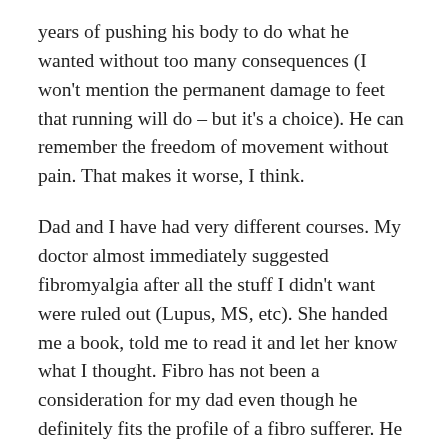years of pushing his body to do what he wanted without too many consequences (I won't mention the permanent damage to feet that running will do – but it's a choice). He can remember the freedom of movement without pain. That makes it worse, I think.
Dad and I have had very different courses. My doctor almost immediately suggested fibromyalgia after all the stuff I didn't want were ruled out (Lupus, MS, etc). She handed me a book, told me to read it and let her know what I thought. Fibro has not been a consideration for my dad even though he definitely fits the profile of a fibro sufferer. He is, after all, male. His doctor was male. Fibro isn't a male thing. Right? (Wrong, but I'll leave it for now.) The difference between us became very basic: I had to learn to ignore or just live with pain and how to discern if I was actually injured (ill: my dad stayed in the